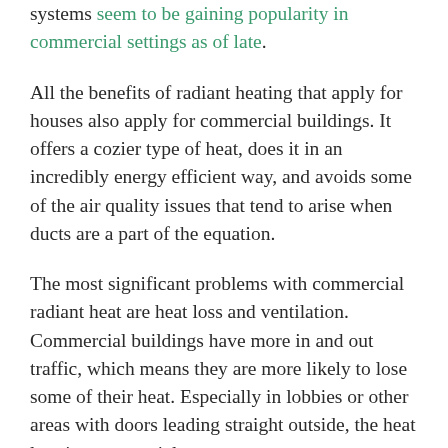systems seem to be gaining popularity in commercial settings as of late.
All the benefits of radiant heating that apply for houses also apply for commercial buildings. It offers a cozier type of heat, does it in an incredibly energy efficient way, and avoids some of the air quality issues that tend to arise when ducts are a part of the equation.
The most significant problems with commercial radiant heat are heat loss and ventilation. Commercial buildings have more in and out traffic, which means they are more likely to lose some of their heat. Especially in lobbies or other areas with doors leading straight outside, the heat loss in commercial